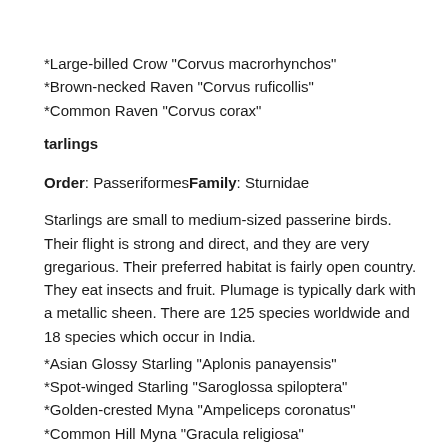*Large-billed Crow "Corvus macrorhynchos"
*Brown-necked Raven "Corvus ruficollis"
*Common Raven "Corvus corax"
tarlings
Order: PasseriformesFamily: Sturnidae
Starlings are small to medium-sized passerine birds. Their flight is strong and direct, and they are very gregarious. Their preferred habitat is fairly open country. They eat insects and fruit. Plumage is typically dark with a metallic sheen. There are 125 species worldwide and 18 species which occur in India.
*Asian Glossy Starling "Aplonis panayensis"
*Spot-winged Starling "Saroglossa spiloptera"
*Golden-crested Myna "Ampeliceps coronatus"
*Common Hill Myna "Gracula religiosa"
*Southern Hill Myna "Gracula indica"
*White-vented Myna "Acridotheres grandis"
*Jungle Myna "Acridotheres fuscus"